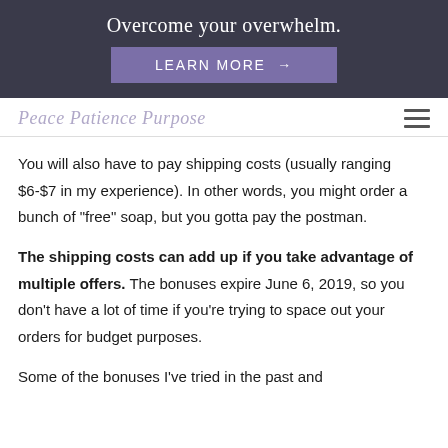Overcome your overwhelm.
LEARN MORE →
Peace Patience Purpose
You will also have to pay shipping costs (usually ranging $6-$7 in my experience). In other words, you might order a bunch of "free" soap, but you gotta pay the postman.
The shipping costs can add up if you take advantage of multiple offers. The bonuses expire June 6, 2019, so you don't have a lot of time if you're trying to space out your orders for budget purposes.
Some of the bonuses I've tried in the past and